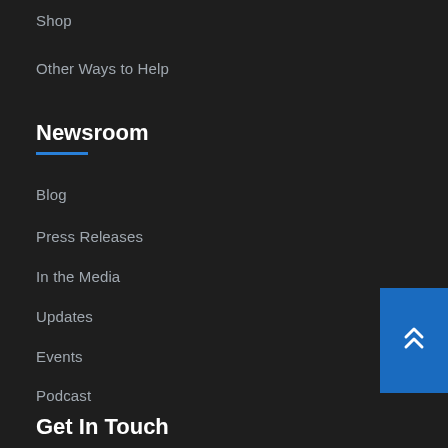Shop
Other Ways to Help
Newsroom
Blog
Press Releases
In the Media
Updates
Events
Podcast
Get In Touch